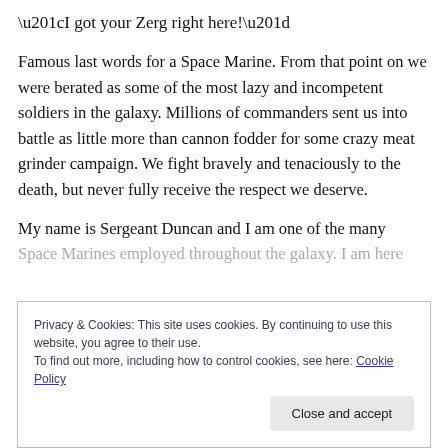“I got your Zerg right here!”
Famous last words for a Space Marine. From that point on we were berated as some of the most lazy and incompetent soldiers in the galaxy. Millions of commanders sent us into battle as little more than cannon fodder for some crazy meat grinder campaign. We fight bravely and tenaciously to the death, but never fully receive the respect we deserve.
My name is Sergeant Duncan and I am one of the many Space Marines employed throughout the galaxy. I am here
Privacy & Cookies: This site uses cookies. By continuing to use this website, you agree to their use.
To find out more, including how to control cookies, see here: Cookie Policy
Close and accept